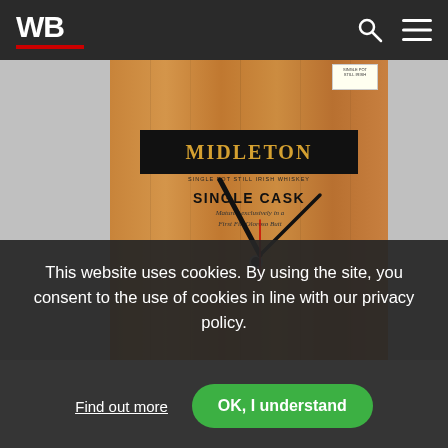WB
[Figure (photo): A wooden Midleton Single Cask Irish whiskey box repurposed as a clock, with clock hands showing approximately 10:10, against a grey background.]
This website uses cookies. By using the site, you consent to the use of cookies in line with our privacy policy.
Find out more
OK, I understand